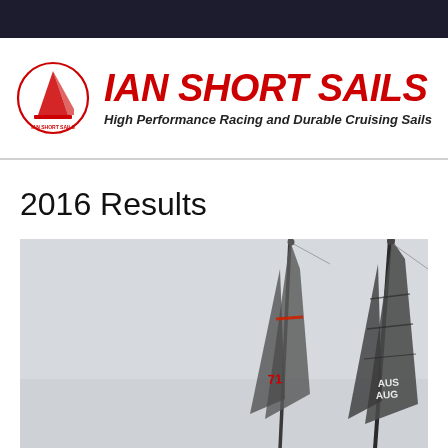[Figure (logo): Ian Short Sails logo: red circular sailing logo on left, red italic bold text 'IAN SHORT SAILS' on right with tagline 'High Performance Racing and Durable Cruising Sails']
2016 Results
[Figure (photo): Aerial photograph of two racing sailboats with tall masts and sails visible from above, on a light grey water background. One sail shows partial text 'AUS'.]